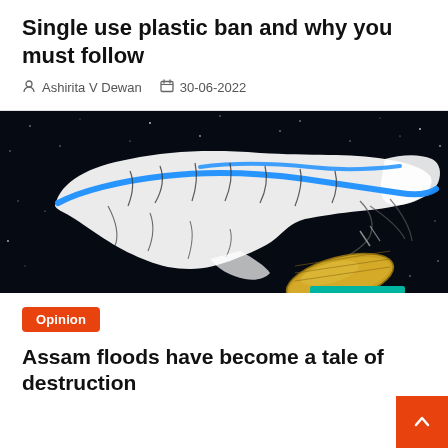Single use plastic ban and why you must follow
Ashirita V Dewan   30-06-2022
[Figure (photo): Satellite or digital map visualization of Assam showing river systems (Brahmaputra highlighted in blue) glowing against a dark starry background, with a satellite dish visible in the foreground]
Opinion
Assam floods have become a tale of destruction